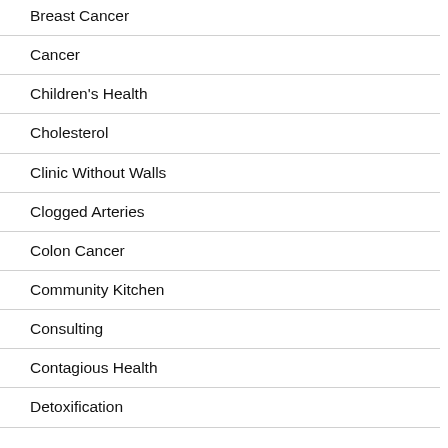Breast Cancer
Cancer
Children's Health
Cholesterol
Clinic Without Walls
Clogged Arteries
Colon Cancer
Community Kitchen
Consulting
Contagious Health
Detoxification